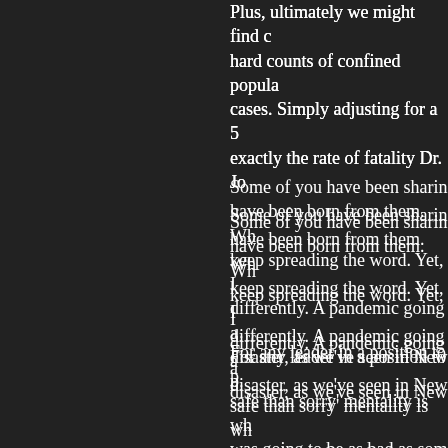Plus, ultimately we might find hard counts of confined populations cases. Simply adjusting for a 5 exactly the rate of fatality Dr. Jo
Some of you have been sharing have been born from them. Wh keep spreading the word. Yet, I differently. A pandemic going a disaster, as we've seen in New
For any leader in a position to p safe than sorry' mentality is wh was going to be as bad as som the dice? There's going to be a figures. Hell, Dr. Anthony Fauci now says staying inside for too
Stay-at-home orders intended t "irreparable damage" if impos